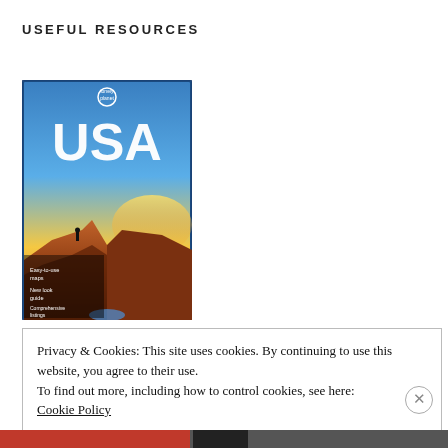USEFUL RESOURCES
[Figure (photo): Lonely Planet USA travel guide book cover showing Grand Canyon with a person standing on the rim at sunset, with text 'lonely planet', 'USA', 'Easy-to-use maps', 'New look guide', 'Comprehensive listings']
Privacy & Cookies: This site uses cookies. By continuing to use this website, you agree to their use.
To find out more, including how to control cookies, see here:
Cookie Policy
Close and accept